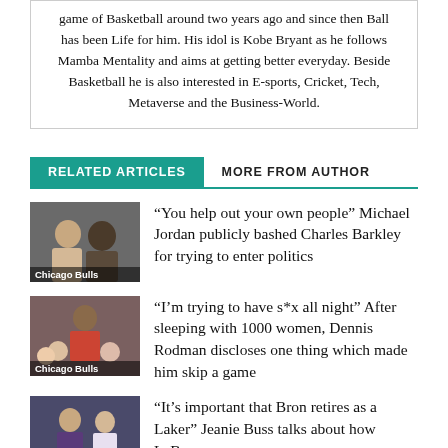game of Basketball around two years ago and since then Ball has been Life for him. His idol is Kobe Bryant as he follows Mamba Mentality and aims at getting better everyday. Beside Basketball he is also interested in E-sports, Cricket, Tech, Metaverse and the Business-World.
RELATED ARTICLES
MORE FROM AUTHOR
“You help out your own people” Michael Jordan publicly bashed Charles Barkley for trying to enter politics
Chicago Bulls
“I’m trying to have s*x all night” After sleeping with 1000 women, Dennis Rodman discloses one thing which made him skip a game
Chicago Bulls
“It’s important that Bron retires as a Laker” Jeanie Buss talks about how LeBron